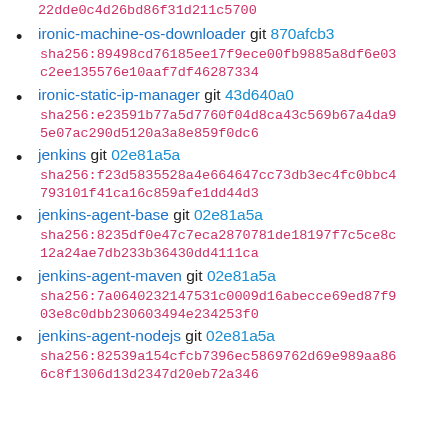22dde0c4d26bd86f31d211c5700
ironic-machine-os-downloader git 870afcb3 sha256:89498cd76185ee17f9ece00fb9885a8df6e03c2ee135576e10aaf7df46287334
ironic-static-ip-manager git 43d640a0 sha256:e23591b77a5d7760f04d8ca43c569b67a4da95e07ac290d5120a3a8e859f0dc6
jenkins git 02e81a5a sha256:f23d5835528a4e664647cc73db3ec4fc0bbc4793101f41ca16c859afe1dd44d3
jenkins-agent-base git 02e81a5a sha256:8235df0e47c7eca2870781de18197f7c5ce8c12a24ae7db233b36430dd4111ca
jenkins-agent-maven git 02e81a5a sha256:7a0640232147531c0009d16abecce69ed87f903e8c0dbb230603494e234253f0
jenkins-agent-nodejs git 02e81a5a sha256:82539a154cfcb7396ec5869762d69e989aa866c8f1306d13d2347d20eb72a346